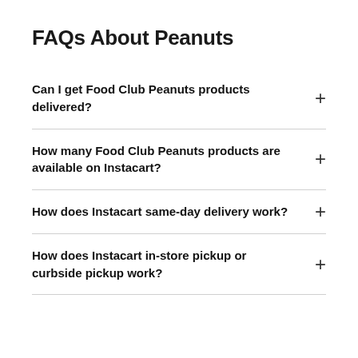FAQs About Peanuts
Can I get Food Club Peanuts products delivered?
How many Food Club Peanuts products are available on Instacart?
How does Instacart same-day delivery work?
How does Instacart in-store pickup or curbside pickup work?